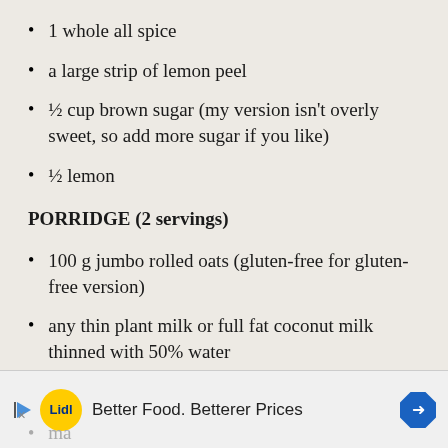1 whole all spice
a large strip of lemon peel
½ cup brown sugar (my version isn't overly sweet, so add more sugar if you like)
½ lemon
PORRIDGE (2 servings)
100 g jumbo rolled oats (gluten-free for gluten-free version)
any thin plant milk or full fat coconut milk thinned with 50% water
a handful of any nuts, chopped
see…
ma…
[Figure (other): Lidl advertisement banner: Better Food. Betterer Prices]